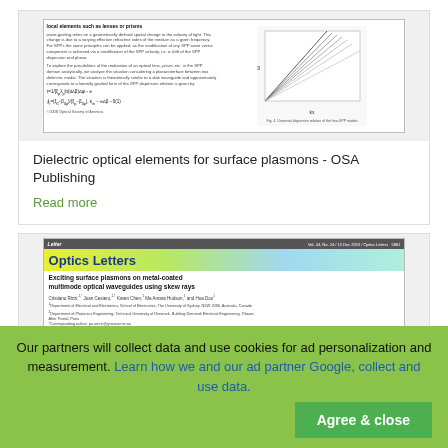[Figure (screenshot): Thumbnail of a scientific paper about dielectric optical elements for surface plasmons, showing text columns and a dispersion relation figure]
Dielectric optical elements for surface plasmons - OSA Publishing
Read more
[Figure (screenshot): Thumbnail of Optics Letters paper titled 'Exciting surface plasmons on metal-coated multimode optical waveguides using skew rays' with authors and journal banner]
Our partners will collect data and use cookies for ad personalization and measurement. Learn how we and our ad partner Google, collect and use data.
Agree & close